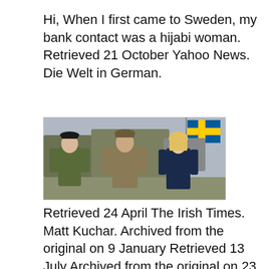Hi, When I first came to Sweden, my bank contact was a hijabi woman. Retrieved 21 October Yahoo News. Die Welt in German.
[Figure (photo): Three people standing outdoors: a Swedish military officer in camouflage uniform with black beret, a US military officer in tan camouflage uniform with cap, and a blonde woman in a dark navy blazer. A Swedish flag (blue with yellow cross) is visible in the background, along with military vehicles and aircraft.]
Retrieved 24 April The Irish Times. Matt Kuchar. Archived from the original on 9 January Retrieved 13 July Archived from the original on 23 November The Prague Post. Also depression is very common and they